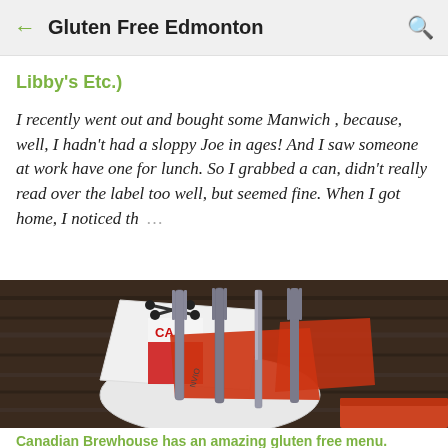← Gluten Free Edmonton 🔍
Libby's Etc.)
I recently went out and bought some Manwich , because, well, I hadn't had a sloppy Joe in ages!  And I saw someone at work have one for lunch.  So I grabbed a can, didn't really read over the label too well, but seemed fine.  When I got home, I noticed th … ...
[Figure (photo): A restaurant place setting on a dark wood table — a white plate with folded napkins printed with a Canadian Brewhouse logo, silverware including forks and a knife, and a red folded napkin to the right.]
Canadian Brewhouse has an amazing gluten free menu.